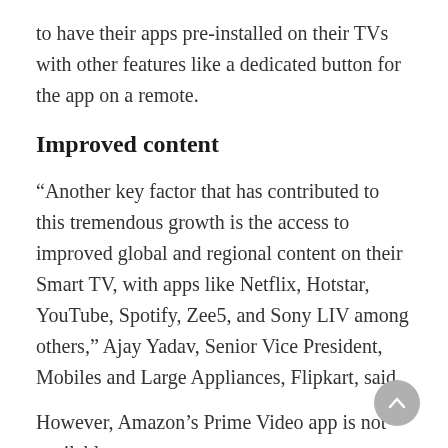to have their apps pre-installed on their TVs with other features like a dedicated button for the app on a remote.
Improved content
“Another key factor that has contributed to this tremendous growth is the access to improved global and regional content on their Smart TV, with apps like Netflix, Hotstar, YouTube, Spotify, Zee5, and Sony LIV among others,” Ajay Yadav, Senior Vice President, Mobiles and Large Appliances, Flipkart, said.
However, Amazon’s Prime Video app is not available